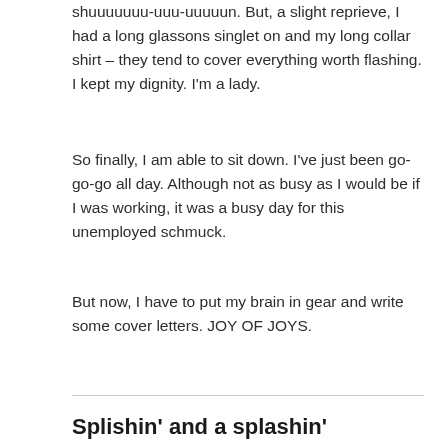shuuuuuuu-uuu-uuuuun. But, a slight reprieve, I had a long glassons singlet on and my long collar shirt – they tend to cover everything worth flashing. I kept my dignity. I'm a lady.
So finally, I am able to sit down. I've just been go-go-go all day. Although not as busy as I would be if I was working, it was a busy day for this unemployed schmuck.
But now, I have to put my brain in gear and write some cover letters. JOY OF JOYS.
Splishin' and a splashin'